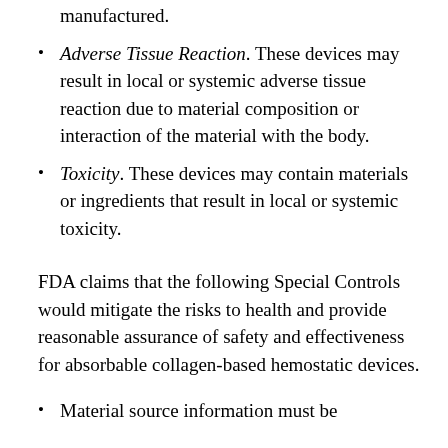manufactured.
Adverse Tissue Reaction. These devices may result in local or systemic adverse tissue reaction due to material composition or interaction of the material with the body.
Toxicity. These devices may contain materials or ingredients that result in local or systemic toxicity.
FDA claims that the following Special Controls would mitigate the risks to health and provide reasonable assurance of safety and effectiveness for absorbable collagen-based hemostatic devices.
Material source information must be